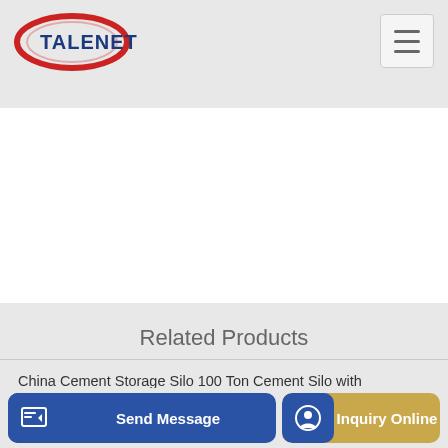TALENET
[Figure (logo): TALENET logo with red oval and blue text]
Related Products
China Cement Storage Silo 100 Ton Cement Silo with
Stetter on chassis MERCEDES-BENZ Actros concrete mixer
mp P
Send Message   Inquiry Online